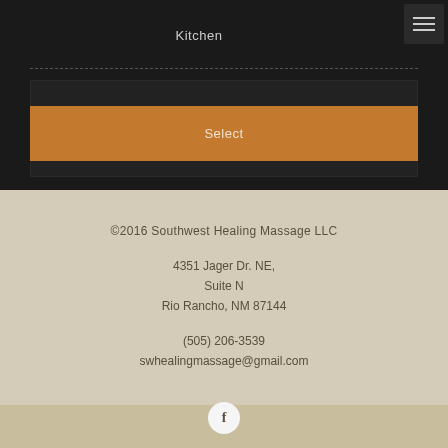Kitchen
Select
©2016 Southwest Healing Massage LLC
4351 Jager Dr. NE,
Suite N
Rio Rancho, NM 87144
(505) 206-3539
swhealingmassage@gmail.com
[Figure (logo): Facebook social media icon — white circle with dark letter f]